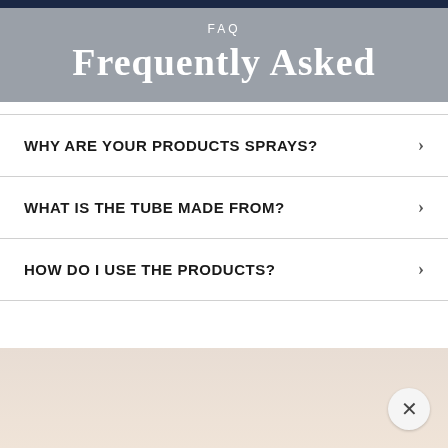FAQ
Frequently Asked
WHY ARE YOUR PRODUCTS SPRAYS?
WHAT IS THE TUBE MADE FROM?
HOW DO I USE THE PRODUCTS?